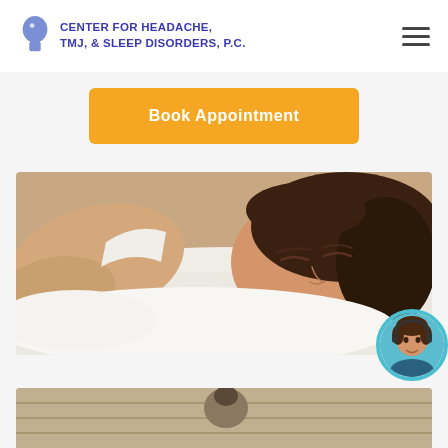CENTER FOR HEADACHE, TMJ, & SLEEP DISORDERS, P.C.
Book Appointment
[Figure (photo): Woman sleeping peacefully on white bedding, close-up of face with eyes closed and slight smile]
[Figure (photo): Customer service representative chat widget in bottom-right corner, circular photo of a woman with headset, teal border]
[Figure (photo): Partial image at bottom of page, appears to be another scene related to sleep or medical context]